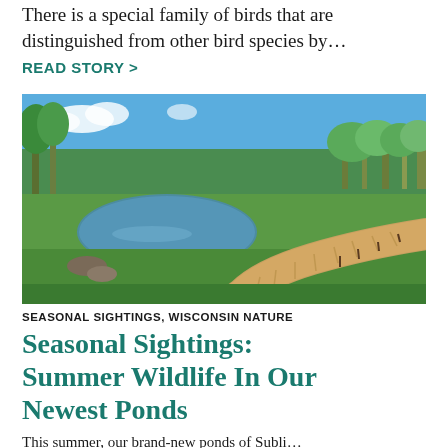There is a special family of birds that are distinguished from other bird species by…
READ STORY >
[Figure (photo): A wooden boardwalk winding through a lush green wetland area with a small pond on the left, surrounded by trees and vegetation under a blue sky.]
SEASONAL SIGHTINGS, WISCONSIN NATURE
Seasonal Sightings: Summer Wildlife In Our Newest Ponds
This summer, our brand-new ponds of Subli…